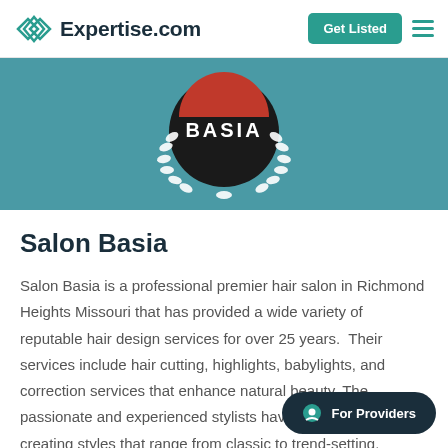Expertise.com
[Figure (logo): Salon Basia logo — black circular badge with red and white 'BASIA' text, white laurel wreath, on teal background]
Salon Basia
Salon Basia is a professional premier hair salon in Richmond Heights Missouri that has provided a wide variety of reputable hair design services for over 25 years. Their services include hair cutting, highlights, babylights, and correction services that enhance natural beauty. The passionate and experienced stylists have experience in creating styles that range from classic to trend-setting.